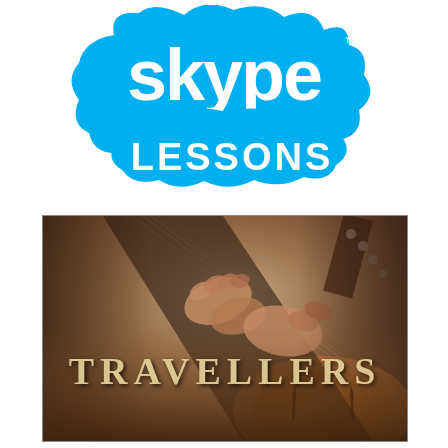[Figure (logo): Skype Lessons logo — cloud-shaped blue background with white 'skype' text on top and 'LESSONS' below, both in the Skype brand style]
[Figure (photo): Album cover titled 'TRAVELLERS' showing close-up hands playing a mandolin/guitar against a warm brown textured background. The word TRAVELLERS appears in large vintage gold/cream letters across the lower middle of the image.]